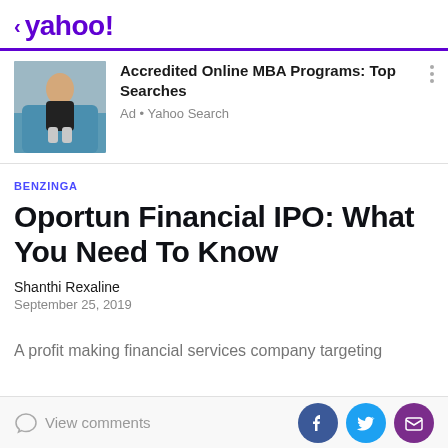< yahoo!
[Figure (photo): Woman sitting on a blue couch with a laptop, used as ad image for Accredited Online MBA Programs]
Accredited Online MBA Programs: Top Searches
Ad • Yahoo Search
BENZINGA
Oportun Financial IPO: What You Need To Know
Shanthi Rexaline
September 25, 2019
A profit making financial services company targeting
View comments